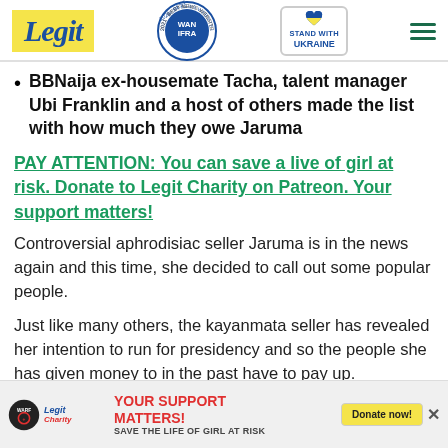Legit | WAN IFRA Best News Website in Africa 2021 | Stand with Ukraine
BBNaija ex-housemate Tacha, talent manager Ubi Franklin and a host of others made the list with how much they owe Jaruma
PAY ATTENTION: You can save a live of girl at risk. Donate to Legit Charity on Patreon. Your support matters!
Controversial aphrodisiac seller Jaruma is in the news again and this time, she decided to call out some popular people.
Just like many others, the kayanmata seller has revealed her intention to run for presidency and so the people she has given money to in the past have to pay up.
[Figure (other): Red scroll-down chevron button]
[Figure (other): Advertisement banner: Legit Charity - Your Support Matters! Save the life of girl at risk. Donate now button.]